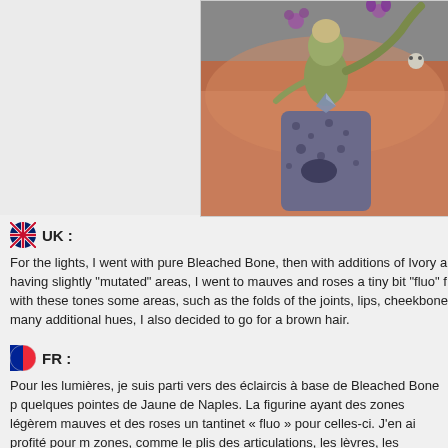[Figure (photo): Close-up photo of a painted miniature figurine held between fingers, showing a purple/grey textured base and a green mutated humanoid figure with purple flowers on top]
UK :
For the lights, I went with pure Bleached Bone, then with additions of Ivory a having slightly "mutated" areas, I went to mauves and roses a tiny bit "fluo" f with these tones some areas, such as the folds of the joints, lips, cheekbone many additional hues, I also decided to go for a brown hair.
FR :
Pour les lumières, je suis parti vers des éclaircis à base de Bleached Bone p quelques pointes de Jaune de Naples. La figurine ayant des zones légèrem mauves et des roses un tantinet « fluo » pour celles-ci. J'en ai profité pour m zones, comme le plis des articulations, les lèvres, les pommettes et les man Afin de ne pas rajouter trop de teintes supplémentaires, j'ai aussi décidé de cheveux.